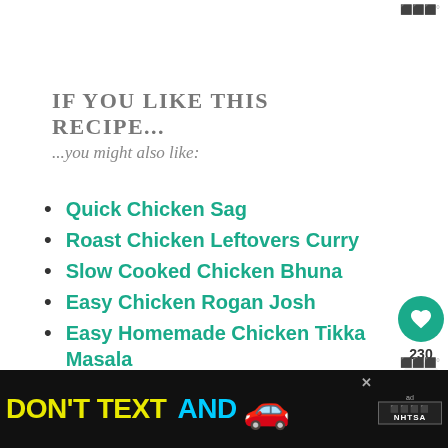IF YOU LIKE THIS RECIPE...
...you might also like:
Quick Chicken Sag
Roast Chicken Leftovers Curry
Slow Cooked Chicken Bhuna
Easy Chicken Rogan Josh
Easy Homemade Chicken Tikka Masala
[Figure (other): NHTSA DON'T TEXT AND DRIVE advertisement banner at bottom of page]
[Figure (other): What's Next widget: Easy Peasy Homemade... with food thumbnail]